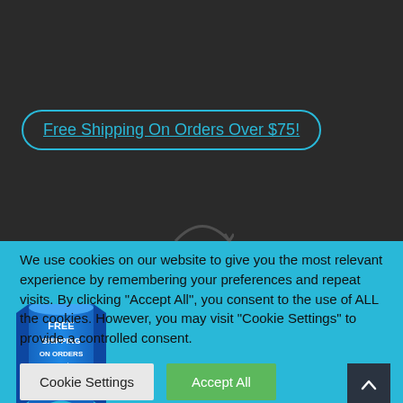Free Shipping On Orders Over $75!
[Figure (illustration): Blue ribbon/banner badge with text: FREE SHIPPING ON ORDERS OVER $75!]
We use cookies on our website to give you the most relevant experience by remembering your preferences and repeat visits. By clicking "Accept All", you consent to the use of ALL the cookies. However, you may visit "Cookie Settings" to provide a controlled consent.
Cookie Settings
Accept All